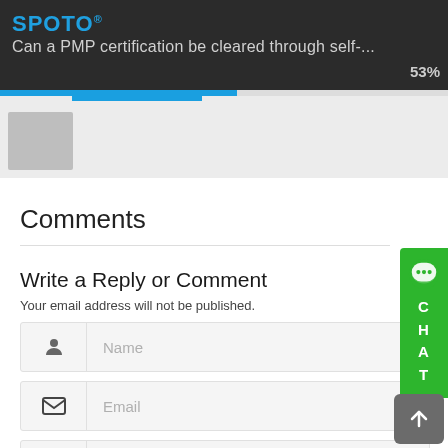SPOTO® — Can a PMP certification be cleared through self-... 53%
[Figure (screenshot): Thumbnail/tab area below navigation bar]
Comments
Write a Reply or Comment
Your email address will not be published.
[Figure (screenshot): Name input field with person icon]
[Figure (screenshot): Email input field with envelope icon]
[Figure (screenshot): Website input field with globe icon]
[Figure (infographic): Green CHAT sidebar button with speech bubble icon on right edge]
[Figure (infographic): Gray scroll-to-top arrow button at bottom right]